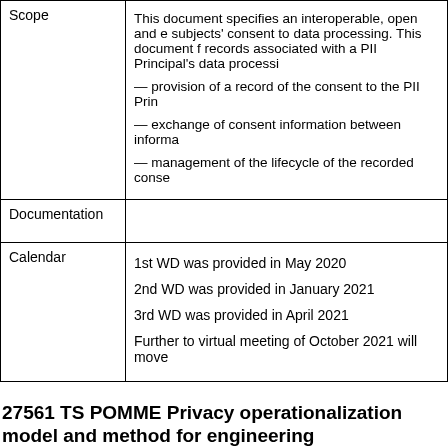|  |  |
| --- | --- |
| Scope | This document specifies an interoperable, open and e... subjects' consent to data processing. This document f... records associated with a PII Principal's data processi...
— provision of a record of the consent to the PII Prin...
— exchange of consent information between informa...
— management of the lifecycle of the recorded conse... |
| Documentation |  |
| Calendar | 1st WD was provided in May 2020
2nd WD was provided in January 2021
3rd WD was provided in April 2021
Further to virtual meeting of October 2021 will move... |
27561 TS POMME Privacy operationalization model and method for engineering